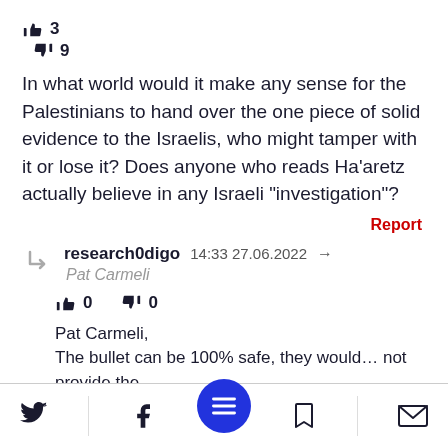[Figure (infographic): Thumbs up icon with count 3, thumbs down icon with count 9]
In what world would it make any sense for the Palestinians to hand over the one piece of solid evidence to the Israelis, who might tamper with it or lose it? Does anyone who reads Ha'aretz actually believe in any Israeli "investigation"?
Report
research0digo 14:33 27.06.2022 → Pat Carmeli
[Figure (infographic): Thumbs up icon with count 0, thumbs down icon with count 0]
Pat Carmeli,
The bullet can be 100% safe, they would… not provide the
[Figure (infographic): Bottom navigation bar with Twitter, Facebook, menu button, bookmark, and email icons]